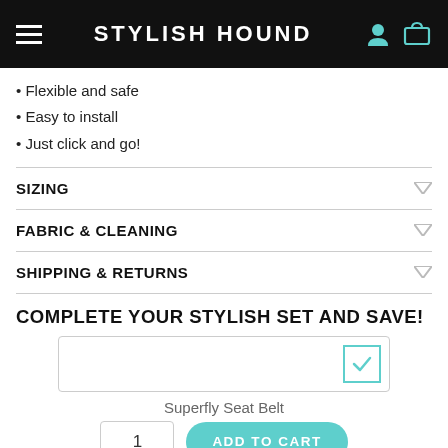STYLISH HOUND
Flexible and safe
Easy to install
Just click and go!
SIZING
FABRIC & CLEANING
SHIPPING & RETURNS
COMPLETE YOUR STYLISH SET AND SAVE!
Superfly Seat Belt
1
ADD TO CART